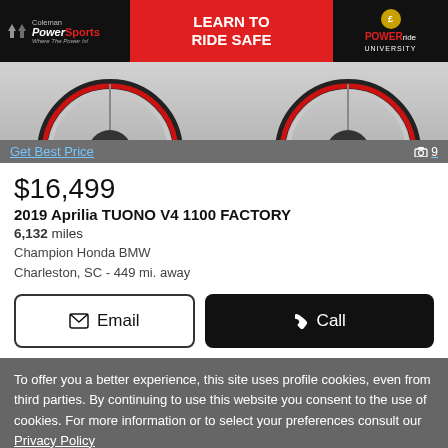[Figure (photo): Coleman PowerSports banner ad with 'LEARN TO RIDE SAFE' in red center panel and PowerRide University logo on right]
[Figure (photo): Motorcycle partial view showing two red-rimmed wheels on gray background]
Get Best Price
📷 9
$16,499
2019 Aprilia TUONO V4 1100 FACTORY
6,132 miles
Champion Honda BMW
Charleston, SC - 449 mi. away
Email
Call
To offer you a better experience, this site uses profile cookies, even from third parties. By continuing to use this website you consent to the use of cookies. For more information or to select your preferences consult our Privacy Policy
Cookie Settings
✓ OK